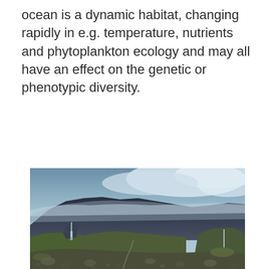ocean is a dynamic habitat, changing rapidly in e.g. temperature, nutrients and phytoplankton ecology and may all have an effect on the genetic or phenotypic diversity.
[Figure (photo): Landscape photograph of a mountainous valley with rocky terrain in the foreground, steep dark mountain ridges in the middle ground shrouded in low clouds and mist, green grassy slopes, and two small waterfalls visible on the cliff faces. The sky is overcast with blue-grey clouds.]